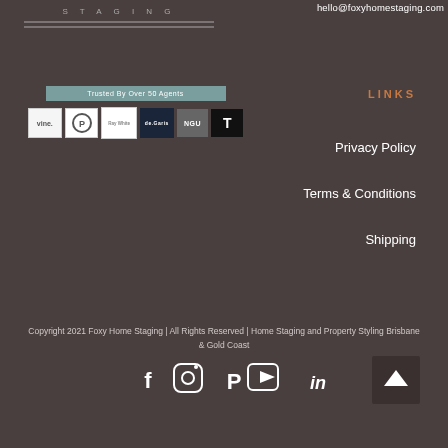[Figure (logo): Foxy Home Staging logo with text STAGING and horizontal lines]
hello@foxyhomestaging.com
[Figure (infographic): Trusted By Over 50 Agents badge and partner logos: vine, P, Ray White, de.Garis, NGU, T]
LINKS
Privacy Policy
Terms & Conditions
Shipping
Copyright 2021 Foxy Home Staging | All Rights Reserved | Home Staging and Property Styling Brisbane & Gold Coast
[Figure (infographic): Social media icons: Facebook, Instagram, Pinterest, YouTube, LinkedIn and back-to-top button]